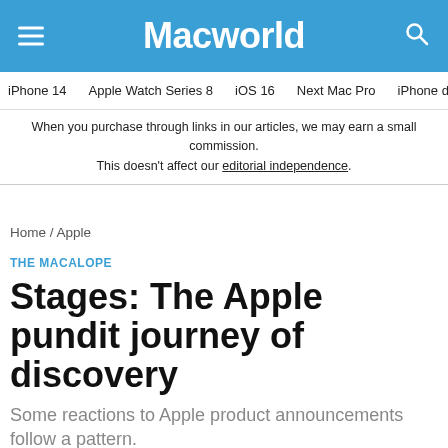Macworld
iPhone 14  Apple Watch Series 8  iOS 16  Next Mac Pro  iPhone d
When you purchase through links in our articles, we may earn a small commission. This doesn't affect our editorial independence.
Home / Apple
THE MACALOPE
Stages: The Apple pundit journey of discovery
Some reactions to Apple product announcements follow a pattern.